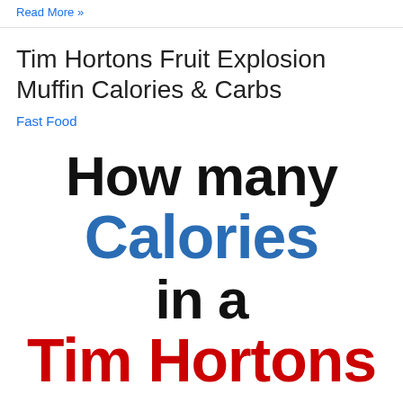Read More »
Tim Hortons Fruit Explosion Muffin Calories & Carbs
Fast Food
[Figure (infographic): Large bold text graphic reading 'How many Calories in a Tim Hortons' with 'How many' and 'in a' in black, 'Calories' in blue, and 'Tim Hortons' in red]